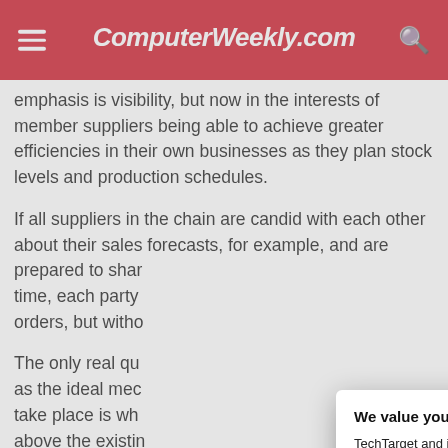ComputerWeekly.com
emphasis is visibility, but now in the interests of member suppliers being able to achieve greater efficiencies in their own businesses as they plan stock levels and production schedules.
If all suppliers in the chain are candid with each other about their sales forecasts, for example, and are prepared to share information in real time, each party can not only manage orders, but witho…
The only real qu… as the ideal mec… take place is wh… above the existin… SMEs with less s… large suppliers, t… of an additional c… much to bear.
As with public ex… to gain will need… smaller players c…
We value your privacy.
TechTarget and its partners employ cookies to improve your experience on our site, to analyze traffic and performance, and to serve personalized content and advertising that are relevant to your professional interests. You can manage your settings at any time. Please view our Privacy Policy for more information